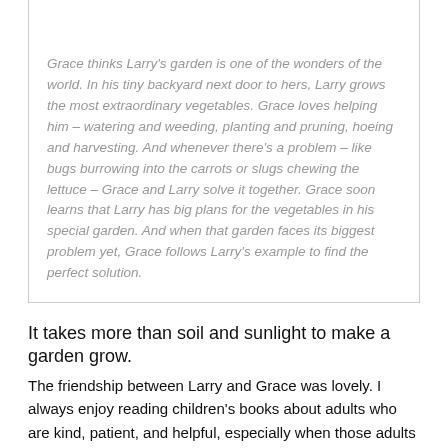[Figure (photo): Book cover image showing colorful garden scene]
Reviewed by Astilbe
Grace thinks Larry's garden is one of the wonders of the world. In his tiny backyard next door to hers, Larry grows the most extraordinary vegetables. Grace loves helping him – watering and weeding, planting and pruning, hoeing and harvesting. And whenever there's a problem – like bugs burrowing into the carrots or slugs chewing the lettuce – Grace and Larry solve it together. Grace soon learns that Larry has big plans for the vegetables in his special garden. And when that garden faces its biggest problem yet, Grace follows Larry's example to find the perfect solution.
It takes more than soil and sunlight to make a garden grow.
The friendship between Larry and Grace was lovely. I always enjoy reading children's books about adults who are kind, patient, and helpful, especially when those adults are senior citizens. There's something so wholesome about seeing two people in such different stages of life pursue the same goal and have a